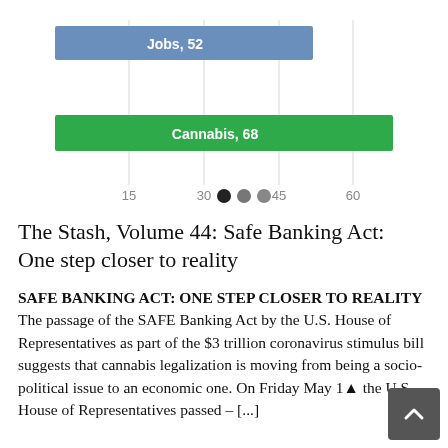[Figure (bar-chart): ]
The Stash, Volume 44: Safe Banking Act: One step closer to reality
SAFE BANKING ACT: ONE STEP CLOSER TO REALITY The passage of the SAFE Banking Act by the U.S. House of Representatives as part of the $3 trillion coronavirus stimulus bill suggests that cannabis legalization is moving from being a socio-political issue to an economic one. On Friday May 1▲ the U.S. House of Representatives passed – [...]